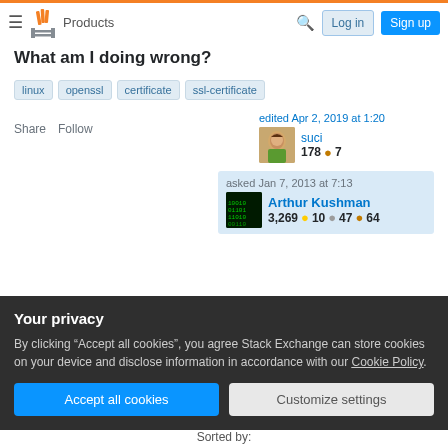≡  [Stack Overflow logo]  Products  🔍  Log in  Sign up
What am I doing wrong?
linux
openssl
certificate
ssl-certificate
Share  Follow  edited Apr 2, 2019 at 1:20  suci  178 ●7  asked Jan 7, 2013 at 7:13  Arthur Kushman  3,269 ●10 ●47 ●64
Your privacy
By clicking "Accept all cookies", you agree Stack Exchange can store cookies on your device and disclose information in accordance with our Cookie Policy.
Accept all cookies  Customize settings
Sorted by: